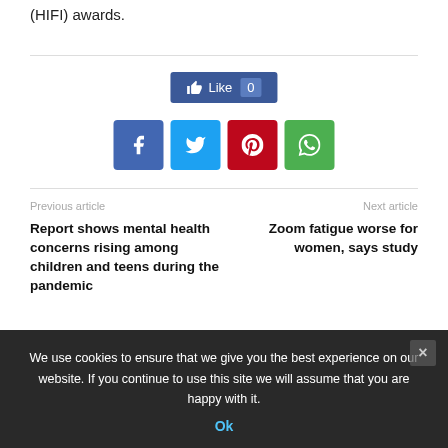(HIFI) awards.
[Figure (screenshot): Facebook Like button showing 0 likes, and four social media share icons: Facebook (blue), Twitter (light blue), Pinterest (red), WhatsApp (green)]
Previous article
Next article
Report shows mental health concerns rising among children and teens during the pandemic
Zoom fatigue worse for women, says study
We use cookies to ensure that we give you the best experience on our website. If you continue to use this site we will assume that you are happy with it.
Ok